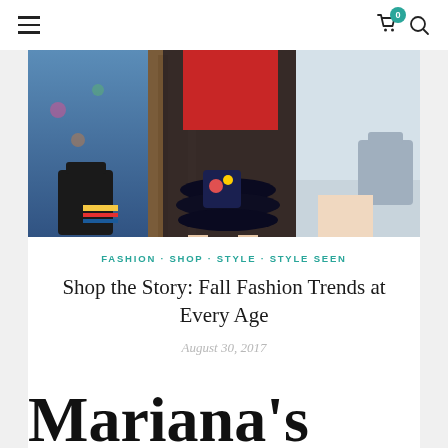Navigation header with hamburger menu, cart icon with badge (0), and search icon
[Figure (photo): Fashion photo showing three women from waist down wearing fall fashion outfits — left in blue floral jacket with dark bag, center in red top with dark ruffled skirt and embroidered bag, right in light gray outfit with gray bag]
FASHION · SHOP · STYLE · STYLE SEEN
Shop the Story: Fall Fashion Trends at Every Age
August 30, 2017
Mariana's